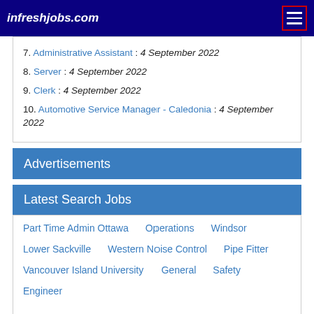infreshjobs.com
7. Administrative Assistant : 4 September 2022
8. Server : 4 September 2022
9. Clerk : 4 September 2022
10. Automotive Service Manager - Caledonia : 4 September 2022
Advertisements
Latest Search Jobs
Part Time Admin Ottawa   Operations   Windsor   Lower Sackville   Western Noise Control   Pipe Fitter   Vancouver Island University   General   Safety   Engineer